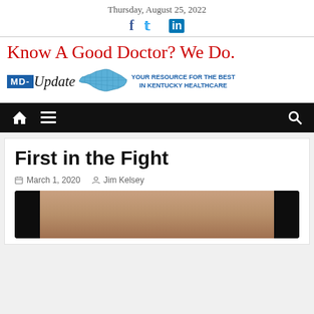Thursday, August 25, 2022
[Figure (logo): MD-Update logo with Kentucky state map and tagline: Know A Good Doctor? We Do. YOUR RESOURCE FOR THE BEST IN KENTUCKY HEALTHCARE]
[Figure (screenshot): Navigation bar with home icon, hamburger menu, and search icon on black background]
First in the Fight
March 1, 2020  Jim Kelsey
[Figure (photo): Photo of a person partially visible at bottom of page, dark frame around image]